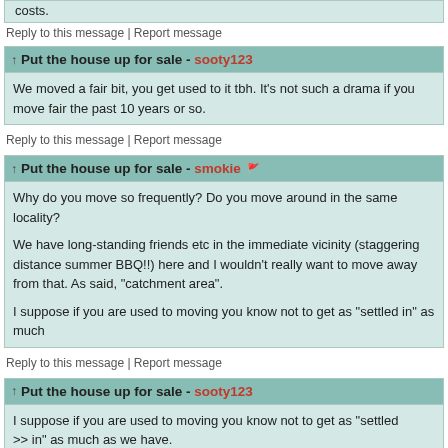costs.
Reply to this message | Report message
Put the house up for sale - sooty123
We moved a fair bit, you get used to it tbh. It's not such a drama if you move fairly frequently as we have over the past 10 years or so.
Reply to this message | Report message
Put the house up for sale - smokie
Why do you move so frequently? Do you move around in the same locality?

We have long-standing friends etc in the immediate vicinity (staggering distance for summer BBQ!!) here and I wouldn't really want to move away from that. As said, same "catchment area".

I suppose if you are used to moving you know not to get as "settled in" as much
Reply to this message | Report message
Put the house up for sale - sooty123
I suppose if you are used to moving you know not to get as "settled
>> in" as much as we have.
>>

Correct, we've not known anything different but moving about.
Reply to this message | Report message